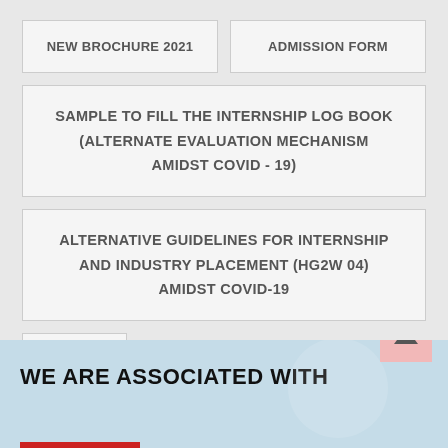NEW BROCHURE 2021
ADMISSION FORM
SAMPLE TO FILL THE INTERNSHIP LOG BOOK (ALTERNATE EVALUATION MECHANISM AMIDST COVID - 19)
ALTERNATIVE GUIDELINES FOR INTERNSHIP AND INDUSTRY PLACEMENT (HG2W 04) AMIDST COVID-19
FLYER
WE ARE ASSOCIATED WITH